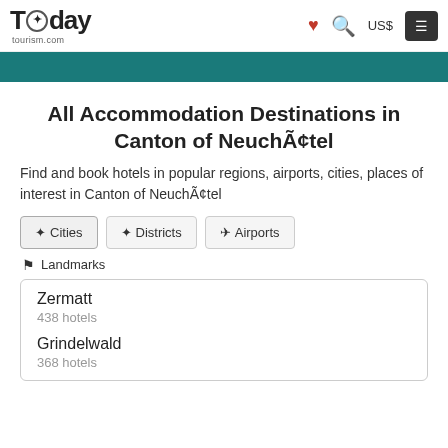Today tourism.com — US$ — navigation menu
All Accommodation Destinations in Canton of NeuchÃ¢tel
Find and book hotels in popular regions, airports, cities, places of interest in Canton of NeuchÃ¢tel
Cities (active tab)
Districts
Airports
Landmarks
Zermatt
438 hotels
Grindelwald
368 hotels